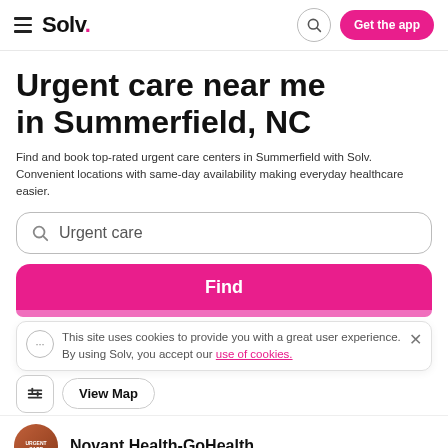Solv. — Get the app
Urgent care near me in Summerfield, NC
Find and book top-rated urgent care centers in Summerfield with Solv. Convenient locations with same-day availability making everyday healthcare easier.
Urgent care
Find
This site uses cookies to provide you with a great user experience. By using Solv, you accept our use of cookies.
View Map
Novant Health-GoHealth